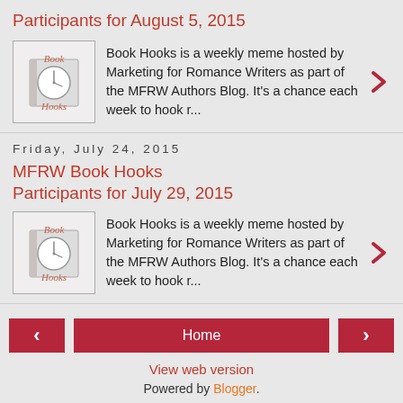Participants for August 5, 2015
[Figure (illustration): Book Hooks logo image - square image with book and clock motif, text 'Book Hooks' in red/salmon color]
Book Hooks is a weekly meme hosted by Marketing for Romance Writers as part of the MFRW Authors Blog.  It's a chance each week to hook r...
Friday, July 24, 2015
MFRW Book Hooks Participants for July 29, 2015
[Figure (illustration): Book Hooks logo image - square image with book and clock motif, text 'Book Hooks' in red/salmon color]
Book Hooks is a weekly meme hosted by Marketing for Romance Writers as part of the MFRW Authors Blog.  It's a chance each week to hook r...
View web version
Powered by Blogger.